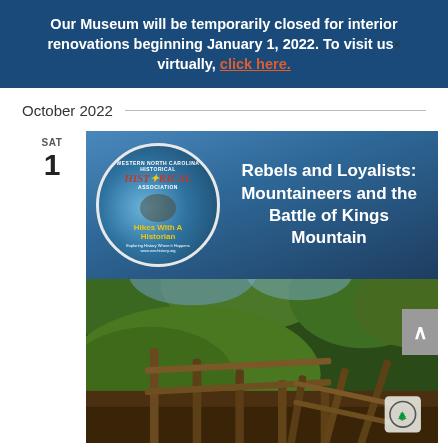Our Museum will be temporarily closed for interior renovations beginning January 1, 2022. To visit us virtually, click here. ×
October 2022
[Figure (photo): Event listing image for 'Rebels and Loyalists: Mountaineers and the Battle of Kings Mountain' — a Hikes With A Historian event by the Western North Carolina Historical Association. Top half shows the circular WNCHA logo with compass and text on a blue mountain background, alongside bold white title text. Bottom half shows a scenic outdoor trail photo with wooden rail fencing, trees, and green hillside.]